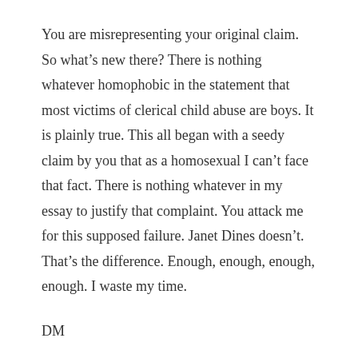You are misrepresenting your original claim. So what’s new there? There is nothing whatever homophobic in the statement that most victims of clerical child abuse are boys. It is plainly true. This all began with a seedy claim by you that as a homosexual I can’t face that fact. There is nothing whatever in my essay to justify that complaint. You attack me for this supposed failure. Janet Dines doesn’t. That’s the difference. Enough, enough, enough, enough. I waste my time.
DM
Gerard Henderson to David Marr – 22 January 2014
David